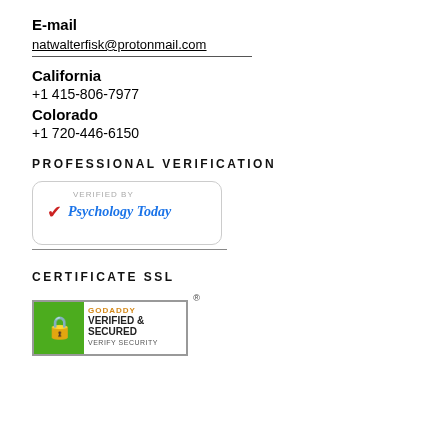E-mail
natwalterfisk@protonmail.com
California
+1 415-806-7977
Colorado
+1 720-446-6150
PROFESSIONAL VERIFICATION
[Figure (logo): Psychology Today verified badge with checkmark and blue italic text]
CERTIFICATE SSL
[Figure (logo): GoDaddy Verified & Secured SSL certificate badge with green padlock icon]